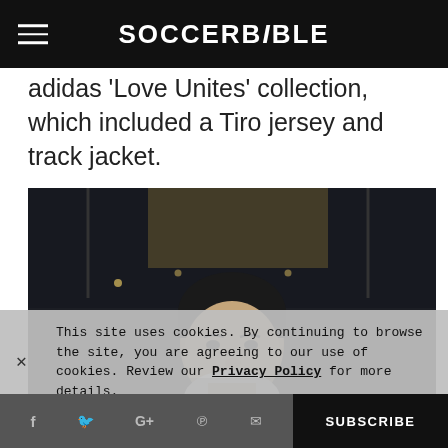SOCCERBIBLE
adidas 'Love Unites' collection, which included a Tiro jersey and track jacket.
[Figure (photo): Photo of a man with dark hair in a white top, taken indoors with dark ceiling and warm lighting above]
This site uses cookies. By continuing to browse the site, you are agreeing to our use of cookies. Review our Privacy Policy for more details.
SUBSCRIBE